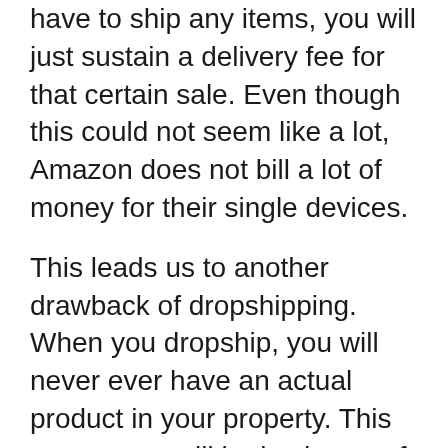have to ship any items, you will just sustain a delivery fee for that certain sale. Even though this could not seem like a lot, Amazon does not bill a lot of money for their single devices.
This leads us to another drawback of dropshipping. When you dropship, you will never ever have an actual product in your property. This means you will be in charge of taking care of the supply. The dropshipper will certainly deal with it. You are accountable for supplying the item, packaging and storing it. It will depend on you how you pack and ship the products sold.
In this instance, it is difficult to see how